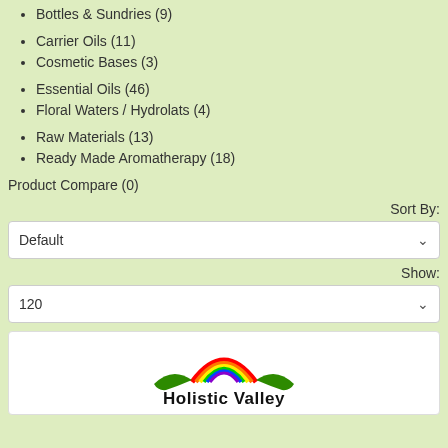Bottles & Sundries (9)
Carrier Oils (11)
Cosmetic Bases (3)
Essential Oils (46)
Floral Waters / Hydrolats (4)
Raw Materials (13)
Ready Made Aromatherapy (18)
Product Compare (0)
Sort By:
Default
Show:
120
[Figure (logo): Holistic Valley logo with rainbow and green wings]